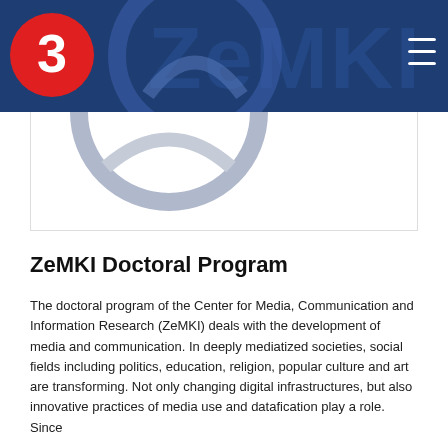[Figure (logo): Navigation bar with dark blue background, red '3' logo on left, 'ZeMKI' text watermark in center, hamburger menu icon on right]
[Figure (logo): ZeMKI circular logo partially visible below navigation bar on white card area]
ZeMKI Doctoral Program
The doctoral program of the Center for Media, Communication and Information Research (ZeMKI) deals with the development of media and communication. In deeply mediatized societies, social fields including politics, education, religion, popular culture and art are transforming. Not only changing digital infrastructures, but also innovative practices of media use and datafication play a role. Since